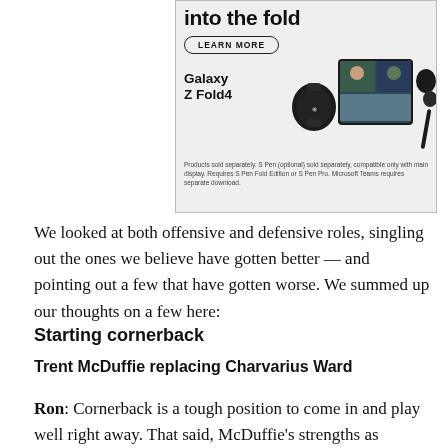[Figure (photo): Samsung Galaxy Z Fold4 advertisement showing the phone, a smartwatch, earbuds, and S Pen with a Microsoft Teams video call on screen. Includes 'Into the fold' headline, 'LEARN MORE' button, product name, and disclaimer text.]
We looked at both offensive and defensive roles, singling out the ones we believe have gotten better — and pointing out a few that have gotten worse. We summed up our thoughts on a few here:
Starting cornerback
Trent McDuffie replacing Charvarius Ward
Ron: Cornerback is a tough position to come in and play well right away. That said, McDuffie's strengths as